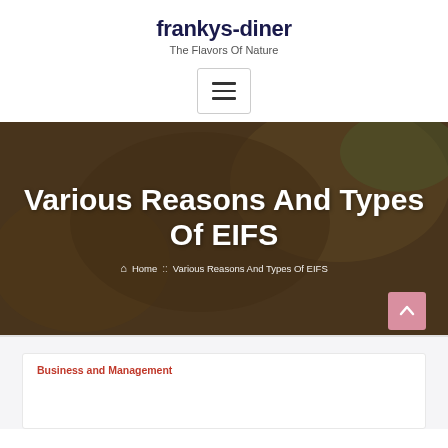frankys-diner
The Flavors Of Nature
[Figure (screenshot): Navigation toggle button with three horizontal lines (hamburger menu icon) inside a bordered rectangle]
Various Reasons And Types Of EIFS
Home :: Various Reasons And Types Of EIFS
Business and Management